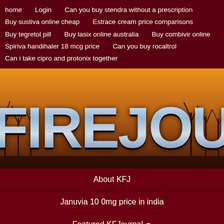home   Login   Can you buy stendra without a prescription   Buy sustiva online cheap   Estrace cream price comparisons   Buy tegretol pill   Buy lasix online australia   Buy combivir online   Spiriva handihaler 18 mcg price   Can you buy rocaltrol   Can i take cipro and protonix together
[Figure (logo): KFJournal website banner with stylized metallic text reading FIREJOURN on an orange/sunset background with silhouetted bare trees]
About KFJ
Januvia 10 0mg price in india
Featured KFJournal ▾
Forum